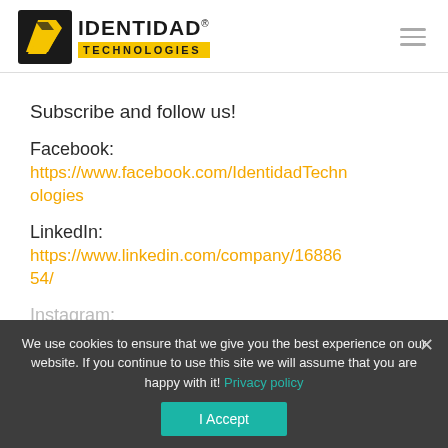[Figure (logo): Identidad Technologies logo with black square icon containing yellow arrow/ribbon shape and company name with yellow TECHNOLOGIES bar]
Subscribe and follow us!
Facebook:
https://www.facebook.com/IdentidadTechnologies
LinkedIn:
https://www.linkedin.com/company/1688654/
Instagram:
https://www.instagram.com/identidadtechn...
We use cookies to ensure that we give you the best experience on our website. If you continue to use this site we will assume that you are happy with it! Privacy policy